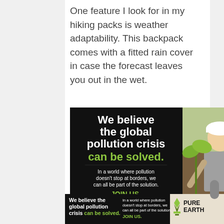One feature I look for in my hiking packs is weather adaptability. This backpack comes with a fitted rain cover in case the forecast leaves you out in the wet.
[Figure (photo): Advertisement for Pure Earth showing a person planting a tree seedling while wearing a hard hat, with text overlay: 'We believe the global pollution crisis can be solved. In a world where pollution doesn't stop at borders, we can all be part of the solution. JOIN US.' A bottom banner repeats the message with the Pure Earth logo.]